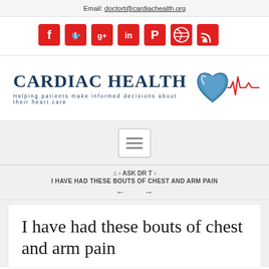Email: doctort@cardiachealth.org
[Figure (other): Row of 7 red social media icons: Facebook, Twitter, Google+, LinkedIn, Pinterest, Dribbble, RSS]
[Figure (logo): Cardiac Health logo with heart and EKG graphic. Text: CARDIAC HEALTH. Subtitle: Helping patients make informed decisions about their heart care]
[Figure (other): Hamburger menu toggle button (three horizontal lines) in a white rounded box]
🏠 › ASK DR T › I HAVE HAD THESE BOUTS OF CHEST AND ARM PAIN ← →
I have had these bouts of chest and arm pain